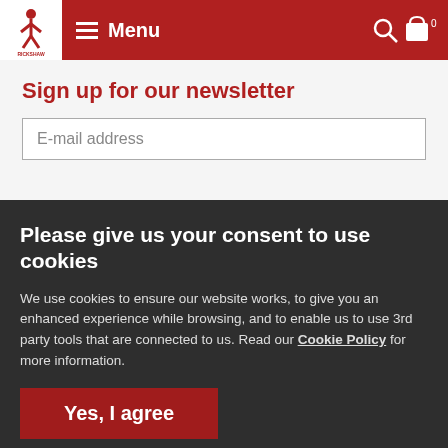[Figure (logo): Rickshaw Travel logo with red navigation bar containing hamburger menu labelled Menu, search icon, and shopping bag icon with 0]
Sign up for our newsletter
E-mail address
Please give us your consent to use cookies
We use cookies to ensure our website works, to give you an enhanced experience while browsing, and to enable us to use 3rd party tools that are connected to us. Read our Cookie Policy for more information.
Yes, I agree